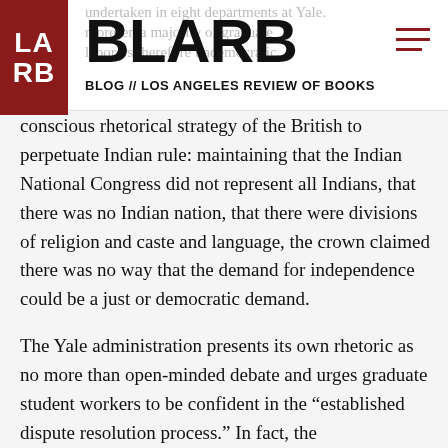BLARB — BLOG // LOS ANGELES REVIEW OF BOOKS
conscious rhetorical strategy of the British to perpetuate Indian rule: maintaining that the Indian National Congress did not represent all Indians, that there was no Indian nation, that there were divisions of religion and caste and language, the crown claimed there was no way that the demand for independence could be a just or democratic demand.
The Yale administration presents its own rhetoric as no more than open-minded debate and urges graduate student workers to be confident in the “established dispute resolution process.” In fact, the